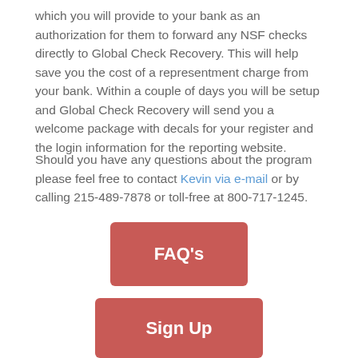which you will provide to your bank as an authorization for them to forward any NSF checks directly to Global Check Recovery. This will help save you the cost of a representment charge from your bank. Within a couple of days you will be setup and Global Check Recovery will send you a welcome package with decals for your register and the login information for the reporting website.
Should you have any questions about the program please feel free to contact Kevin via e-mail or by calling 215-489-7878 or toll-free at 800-717-1245.
[Figure (other): Red button labeled FAQ's]
[Figure (other): Red button labeled Sign Up]